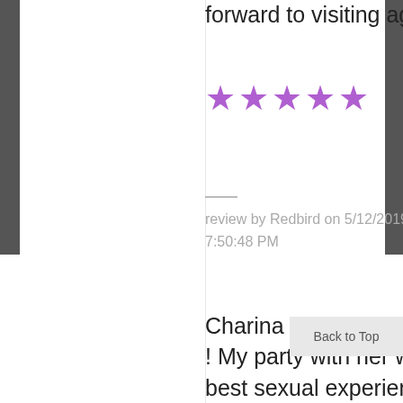forward to visiting again.
[Figure (other): Five purple/violet star rating icons]
review by Redbird on 5/12/2019 7:50:48 PM
Redbird gave this experience a 5.0 stars.
Share this review with others via
Direct Link
Tweet
Charina will rock your world! ! My party with her was the best sexual experience of my
Back to Top